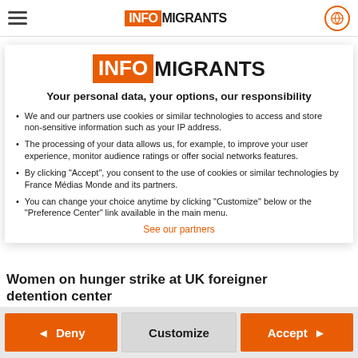INFO MIGRANTS
[Figure (logo): InfoMigrants logo with orange INFO box and black MIGRANTS text]
Your personal data, your options, our responsibility
We and our partners use cookies or similar technologies to access and store non-sensitive information such as your IP address.
The processing of your data allows us, for example, to improve your user experience, monitor audience ratings or offer social networks features.
By clicking "Accept", you consent to the use of cookies or similar technologies by France Médias Monde and its partners.
You can change your choice anytime by clicking "Customize" below or the "Preference Center" link available in the main menu.
See our partners
◄ Deny   Customize   Accept ►
Women on hunger strike at UK foreigner detention center